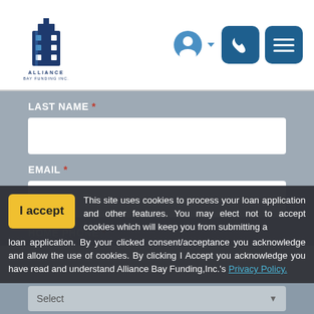[Figure (logo): Alliance Bay Funding Inc. logo — building graphic with company name below]
[Figure (infographic): User account icon (circle) with dropdown arrow, phone icon button (dark blue rounded square), hamburger menu icon button (dark blue rounded square)]
LAST NAME *
EMAIL *
HOME PHONE *
I accept
This site uses cookies to process your loan application and other features. You may elect not to accept cookies which will keep you from submitting a loan application. By your clicked consent/acceptance you acknowledge and allow the use of cookies. By clicking I Accept you acknowledge you have read and understand Alliance Bay Funding,Inc.'s Privacy Policy.
Select